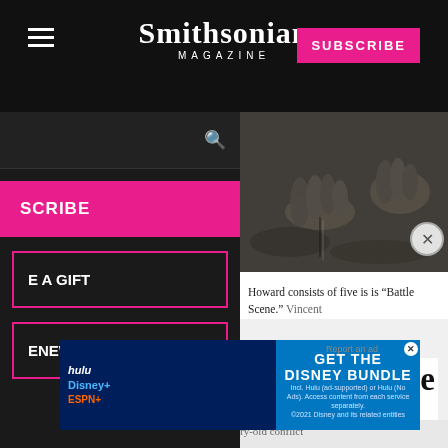Smithsonian MAGAZINE
SUBSCRIBE
SCRIBE
E A GIFT
ENEW
[Figure (photo): Close-up black and white photograph of muddy hands in soil or mud]
Howard consists of five is is "Battle Scene." Vincent
review of the
I Momenti
Science
the century-old conflict
[Figure (infographic): Disney Bundle advertisement banner: GET THE DISNEY BUNDLE. Hulu, Disney+, ESPN+. Incl. Hulu (ad-supported) or Hulu (No Ads). Access content from each service separately. ©2021 Disney and its related entities]